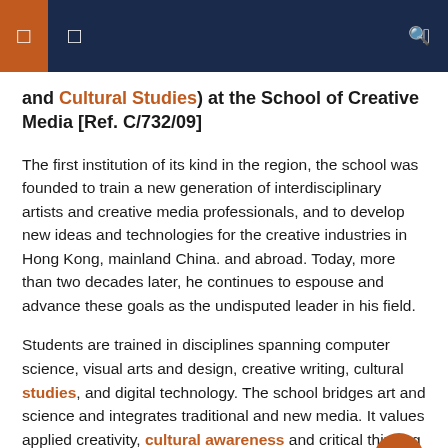and Cultural Studies) at the School of Creative Media [Ref. C/732/09]
The first institution of its kind in the region, the school was founded to train a new generation of interdisciplinary artists and creative media professionals, and to develop new ideas and technologies for the creative industries in Hong Kong, mainland China. and abroad. Today, more than two decades later, he continues to espouse and advance these goals as the undisputed leader in his field.
Students are trained in disciplines spanning computer science, visual arts and design, creative writing, cultural studies, and digital technology. The school bridges art and science and integrates traditional and new media. It values applied creativity, cultural awareness and critical thinking as